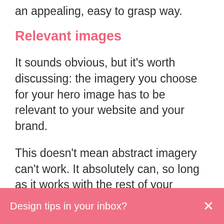an appealing, easy to grasp way.
Relevant images
It sounds obvious, but it’s worth discussing: the imagery you choose for your hero image has to be relevant to your website and your brand.
This doesn’t mean abstract imagery can’t work. It absolutely can, so long as it works with the rest of your design. That might mean a geometric pattern that creates an intriguing visual texture, or a color palette that fits your brand’s color scheme.
Design tips in your inbox?